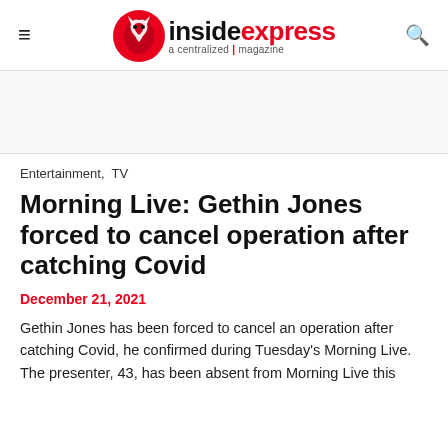inside express a centralized magazine
Entertainment,  TV
Morning Live: Gethin Jones forced to cancel operation after catching Covid
December 21, 2021
Gethin Jones has been forced to cancel an operation after catching Covid, he confirmed during Tuesday's Morning Live. The presenter, 43, has been absent from Morning Live this